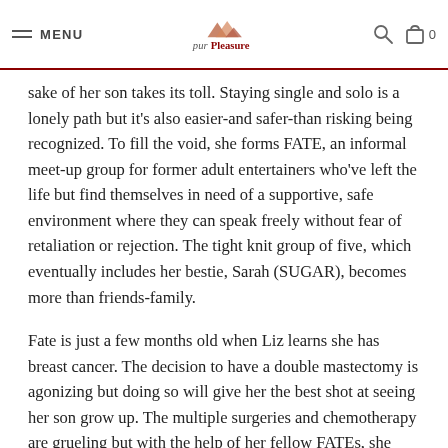MENU | purPleasure | 0
sake of her son takes its toll. Staying single and solo is a lonely path but it's also easier-and safer-than risking being recognized. To fill the void, she forms FATE, an informal meet-up group for former adult entertainers who've left the life but find themselves in need of a supportive, safe environment where they can speak freely without fear of retaliation or rejection. The tight knit group of five, which eventually includes her bestie, Sarah (SUGAR), becomes more than friends-family.
Fate is just a few months old when Liz learns she has breast cancer. The decision to have a double mastectomy is agonizing but doing so will give her the best shot at seeing her son grow up. The multiple surgeries and chemotherapy are grueling but with the help of her fellow FATEs, she comes through. Cancer-free for more than a year, she is back from a mother-son vacation to Disney World when she runs across a Facebook